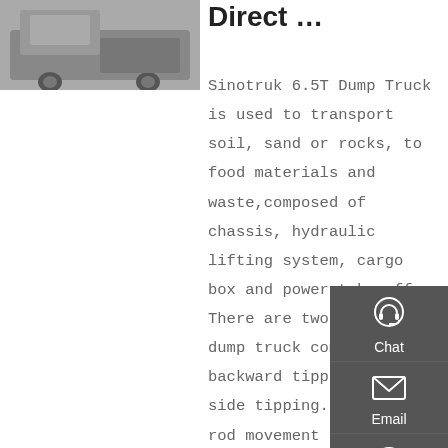[Figure (photo): Partial view of a Sinotruk dump truck, showing the rear/side portion of the vehicle body in grayscale.]
Direct …
Sinotruk 6.5T Dump Truck is used to transport soil, sand or rocks, to food materials and waste,composed of chassis, hydraulic lifting system, cargo box and power take-off. There are two types of dump truck compartment: backward tipping and side tipping. The piston rod movement is controlled by the
[Figure (infographic): Dark grey sidebar with four contact/navigation buttons: Chat (headset icon), Email (envelope icon), Contact (speech bubble with dots icon), Top (arrow up icon). Each separated by a red divider line.]